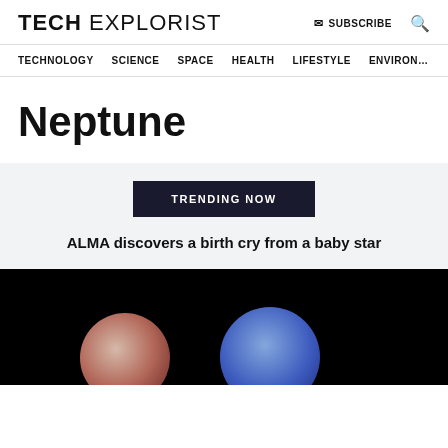TECH EXPLORIST | SUBSCRIBE | Search
TECHNOLOGY  SCIENCE  SPACE  HEALTH  LIFESTYLE  ENVIRONMENT
Neptune
TRENDING NOW
ALMA discovers a birth cry from a baby star
[Figure (photo): Dark space background with two planets visible at the bottom — a reddish-orange planet on the left and a blue planet on the right]